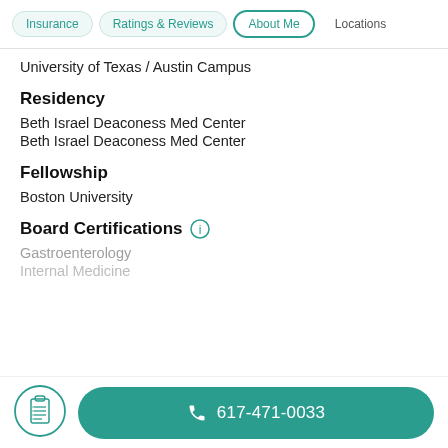Insurance | Ratings & Reviews | About Me | Locations
University of Texas / Austin Campus
Residency
Beth Israel Deaconess Med Center
Beth Israel Deaconess Med Center
Fellowship
Boston University
Board Certifications
Gastroenterology
Internal Medicine
617-471-0033